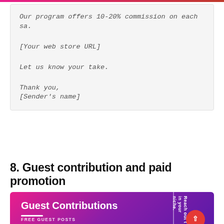Our program offers 10-20% commission on each sa.

[Your web store URL]

Let us know your take.

Thank you,
[Sender's name]
8. Guest contribution and paid promotion
[Figure (illustration): A promotional banner with a purple-to-pink gradient background showing 'Guest Contributions' in white bold text with a white underline, 'FREE GUEST POSTS' label in bottom left, a vertical white divider line on the right side with rotated text 'Reach out ... in your niche.' and a red circular button with an up arrow.]